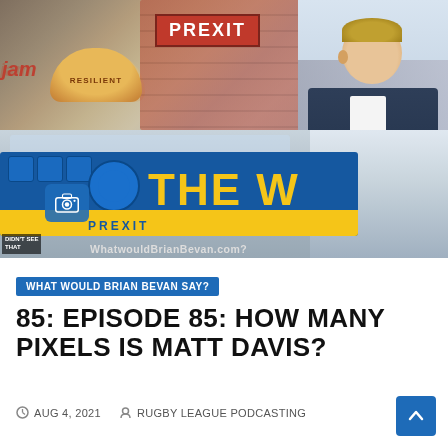[Figure (photo): Composite image: top half shows a graffiti/mural wall with 'PREXIT' sign in red, a bread loaf with 'RESILIENT' text, 'jam' text, and various posters. Bottom half shows a blue bus with 'THE W' and 'PREXIT' text in yellow lettering, a camera icon overlay, 'DIDN'T SEE THAT' text in bottom left, and 'WhatwouldBrianBevan.com?' scrolling text. A man in a blue suit stands on the right side.]
WHAT WOULD BRIAN BEVAN SAY?
85: EPISODE 85: HOW MANY PIXELS IS MATT DAVIS?
AUG 4, 2021   RUGBY LEAGUE PODCASTING